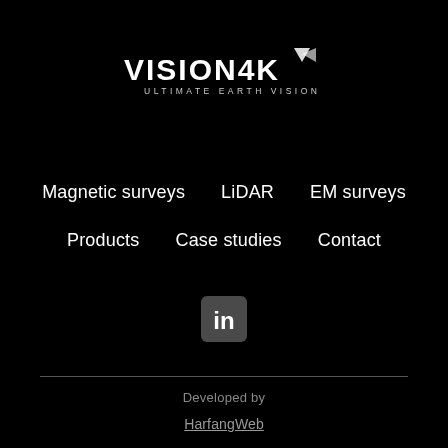[Figure (logo): VISION4K logo with stylized 4K graphic icon and tagline ULTIMATE EARTH VISION]
Magnetic surveys
LiDAR
EM surveys
Products
Case studies
Contact
[Figure (logo): LinkedIn icon button (in logo on rounded square background)]
Developed by
HarfangWeb